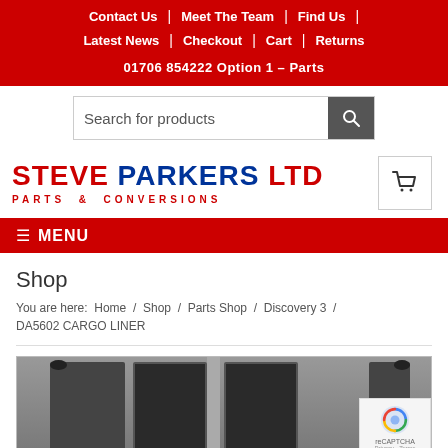Contact Us | Meet The Team | Find Us | Latest News | Checkout | Cart | Returns
01706 854222 Option 1 – Parts
[Figure (screenshot): Search bar with magnifying glass icon]
[Figure (logo): Steve Parkers Ltd Parts & Conversions logo with shopping cart icon]
≡ MENU
Shop
You are here: Home / Shop / Parts Shop / Discovery 3 / DA5602 CARGO LINER
[Figure (photo): DA5602 Cargo Liner product photo showing cargo area of a Discovery 3]